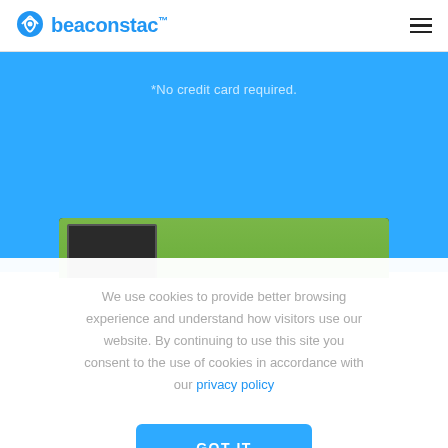beaconstac™
*No credit card required.
[Figure (screenshot): Partial screenshot of a Beaconstac product interface showing a green background panel with a photo thumbnail on the left side]
We use cookies to provide better browsing experience and understand how visitors use our website. By continuing to use this site you consent to the use of cookies in accordance with our privacy policy
GOT IT